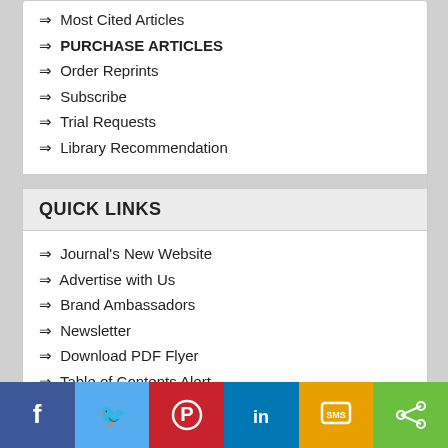⇒ Most Cited Articles
⇒ PURCHASE ARTICLES
⇒ Order Reprints
⇒ Subscribe
⇒ Trial Requests
⇒ Library Recommendation
QUICK LINKS
⇒ Journal's New Website
⇒ Advertise with Us
⇒ Brand Ambassadors
⇒ Newsletter
⇒ Download PDF Flyer
⇒ Table of Contents Alert
RELATED JOURNALS